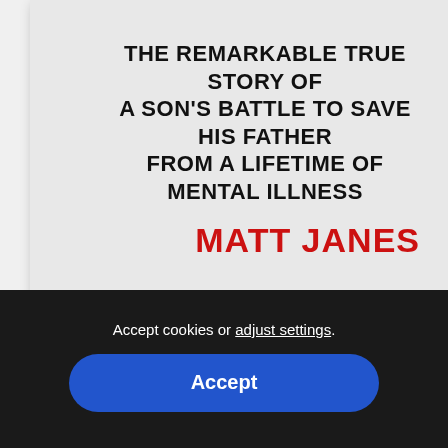[Figure (illustration): Book cover showing subtitle text 'THE REMARKABLE TRUE STORY OF A SON'S BATTLE TO SAVE HIS FATHER FROM A LIFETIME OF MENTAL ILLNESS' in bold black uppercase and author name 'MATT JANES' in bold red uppercase on a light gray background]
Saving Dad
$14.99
Accept cookies or adjust settings.
Accept